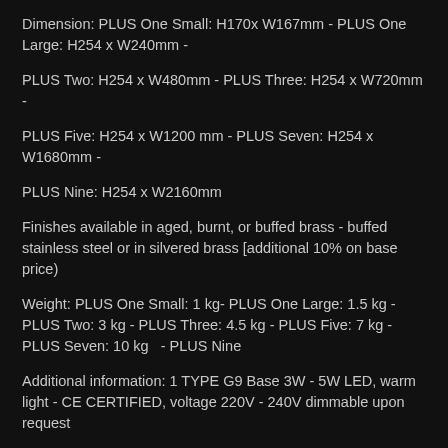Dimension: PLUS One Small: H170x W167mm - PLUS One Large: H254 x W240mm -
PLUS Two: H254 x W480mm - PLUS Three: H254 x W720mm -
PLUS Five: H254 x W1200 mm - PLUS Seven: H254 x W1680mm -
PLUS Nine: H254 x W2160mm
Finishes available in aged, burnt, or buffed brass - buffed stainless steel or in silvered brass [additional 10% on base price)
Weight: PLUS One Small: 1 kg- PLUS One Large: 1.5 kg - PLUS Two: 3 kg - PLUS Three: 4.5 kg - PLUS Five: 7 kg - PLUS Seven: 10 kg  - PLUS Nine
Additional information: 1 TYPE G9 Base 3W - 5W LED, warm light - CE CERTIFIED, voltage 220V - 240V dimmable upon request